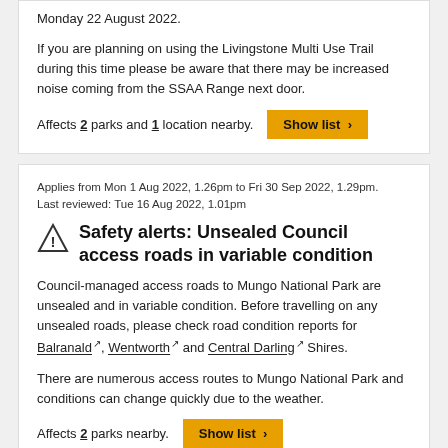Monday 22 August 2022.
If you are planning on using the Livingstone Multi Use Trail during this time please be aware that there may be increased noise coming from the SSAA Range next door.
Affects 2 parks and 1 location nearby.
Applies from Mon 1 Aug 2022, 1.26pm to Fri 30 Sep 2022, 1.29pm. Last reviewed: Tue 16 Aug 2022, 1.01pm
Safety alerts: Unsealed Council access roads in variable condition
Council-managed access roads to Mungo National Park are unsealed and in variable condition. Before travelling on any unsealed roads, please check road condition reports for Balranald, Wentworth and Central Darling Shires.
There are numerous access routes to Mungo National Park and conditions can change quickly due to the weather.
Affects 2 parks nearby.
Applies from Fri 5 Aug 2022, 11.10am. Last reviewed: Thu 18 Aug